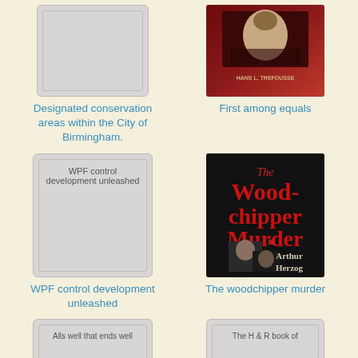[Figure (illustration): Book cover placeholder with grey background for 'Designated conservation areas within the City of Birmingham']
Designated conservation areas within the City of Birmingham.
[Figure (photo): Book cover for 'First among equals' by Hans L. Trefousse, dark red/maroon background with portrait]
First among equals
[Figure (illustration): Book cover placeholder with grey background reading 'WPF control development unleashed']
WPF control development unleashed
[Figure (photo): Book cover for 'The Woodchipper Murder' by Arthur Herzog, dark cover with red text and dramatic imagery]
The woodchipper murder
[Figure (illustration): Book cover placeholder with grey background reading 'Alls well that ends well']
[Figure (illustration): Book cover placeholder with grey background reading 'The H & R book of']